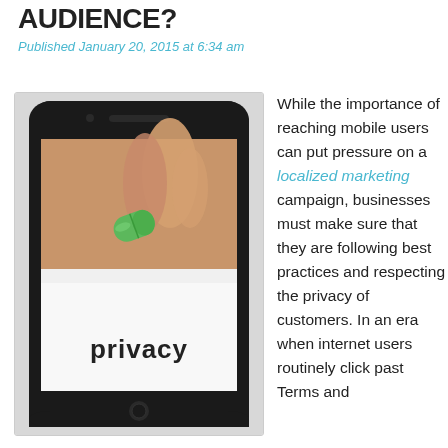AUDIENCE?
Published January 20, 2015 at 6:34 am
[Figure (photo): A smartphone displaying the word 'privacy' on its screen, with a hand holding a green pill above it.]
While the importance of reaching mobile users can put pressure on a localized marketing campaign, businesses must make sure that they are following best practices and respecting the privacy of customers. In an era when internet users routinely click past Terms and